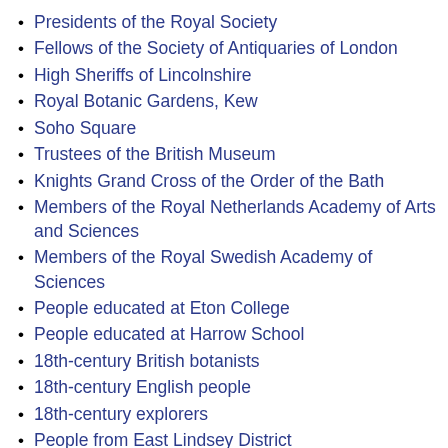Presidents of the Royal Society
Fellows of the Society of Antiquaries of London
High Sheriffs of Lincolnshire
Royal Botanic Gardens, Kew
Soho Square
Trustees of the British Museum
Knights Grand Cross of the Order of the Bath
Members of the Royal Netherlands Academy of Arts and Sciences
Members of the Royal Swedish Academy of Sciences
People educated at Eton College
People educated at Harrow School
18th-century British botanists
18th-century English people
18th-century explorers
People from East Lindsey District